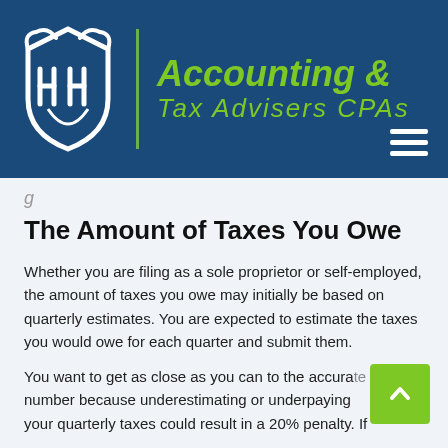[Figure (logo): Accounting & Tax Advisers CPAs logo — shield emblem with stylized H letters in white on dark blue background, with company name in green italic text to the right of a vertical green divider line]
The Amount of Taxes You Owe
Whether you are filing as a sole proprietor or self-employed, the amount of taxes you owe may initially be based on quarterly estimates. You are expected to estimate the taxes you would owe for each quarter and submit them.
You want to get as close as you can to the accurate number because underestimating or underpaying your quarterly taxes could result in a 20% penalty. If